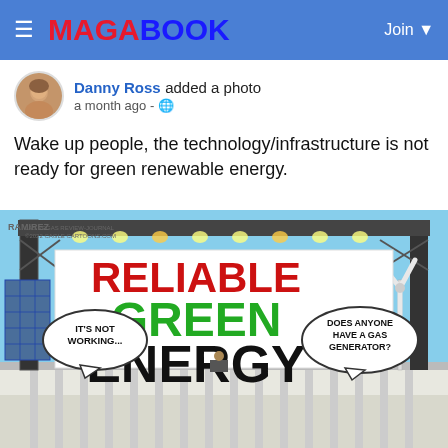MAGABOOK — Join
Danny Ross added a photo
a month ago · 🌐
Wake up people, the technology/infrastructure is not ready for green renewable energy.
[Figure (illustration): Political cartoon showing a 'Reliable Green Energy' banner/stage with speech bubbles saying 'IT'S NOT WORKING...' and 'DOES ANYONE HAVE A GAS GENERATOR?' with solar panels, a wind turbine, and what appears to be the White House in the background.]